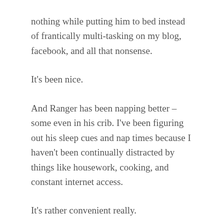nothing while putting him to bed instead of frantically multi-tasking on my blog, facebook, and all that nonsense.
It's been nice.
And Ranger has been napping better – some even in his crib. I've been figuring out his sleep cues and nap times because I haven't been continually distracted by things like housework, cooking, and constant internet access.
It's rather convenient really.
I'm hoping to be able to continue this attention when I return to the world of my to-do list, and my 31 minute